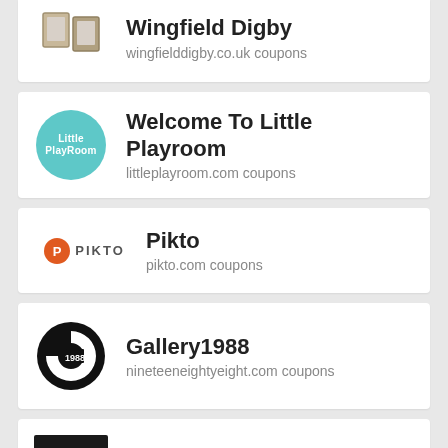Wingfield Digby — wingfielddigby.co.uk coupons
Welcome To Little Playroom — littleplayroom.com coupons
Pikto — pikto.com coupons
Gallery1988 — nineteeneightyeight.com coupons
Safe And Sound Hq — safeandsoundhq.com coupons